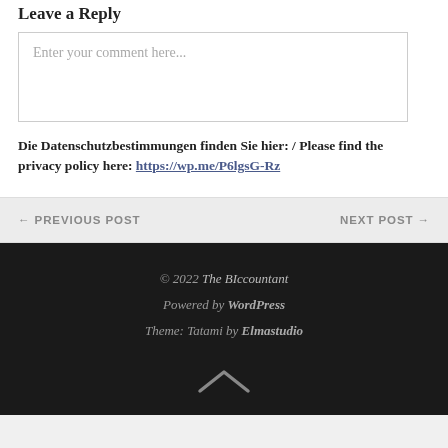Leave a Reply
Enter your comment here...
Die Datenschutzbestimmungen finden Sie hier: / Please find the privacy policy here: https://wp.me/P6lgsG-Rz
← PREVIOUS POST    NEXT POST →
© 2022 The BIccountant
Powered by WordPress
Theme: Tatami by Elmastudio